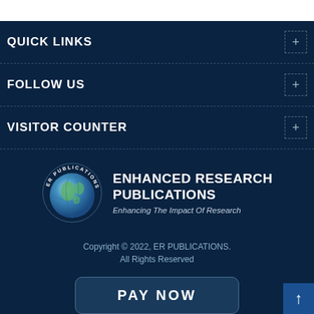QUICK LINKS
FOLLOW US
VISITOR COUNTER
[Figure (logo): ER Publications globe logo with circular text 'ER PUBLICATIONS' around the top]
ENHANCED RESEARCH PUBLICATIONS
Enhancing The Impact Of Research
Copyright © 2022, ER PUBLICATIONS.
All Rights Reserved
PAY NOW